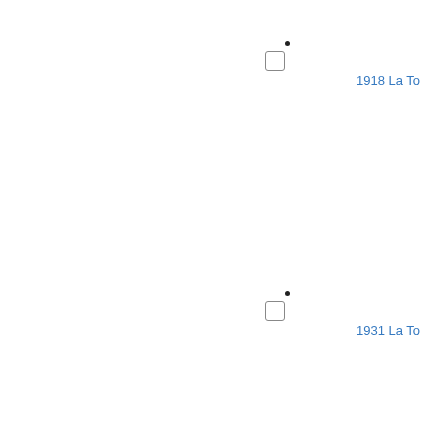[Figure (other): Map or diagram fragment showing two labeled points with small square markers and dot indicators. First point labeled '1918 La To' (text cut off at right edge) near top-right area. Second point labeled '1931 La To' (text cut off at right edge) near middle-right area. Each point has a small rounded-square checkbox icon and a small dot above-right.]
1918 La To
1931 La To